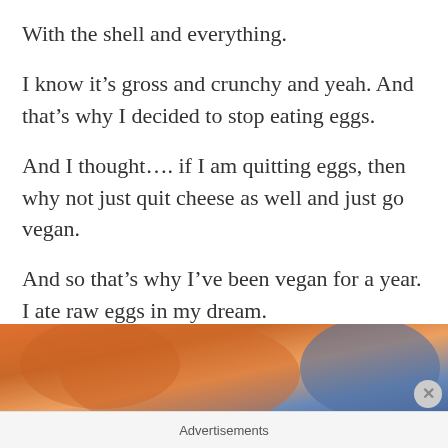With the shell and everything.
I know it’s gross and crunchy and yeah. And that’s why I decided to stop eating eggs.
And I thought…. if I am quitting eggs, then why not just quit cheese as well and just go  vegan.
And so that’s why I’ve been vegan for a year. I ate raw eggs in my dream.
[Figure (photo): Partial photo showing hands holding something orange/yellow, with blue fabric visible on right side, cropped at bottom of page]
Advertisements